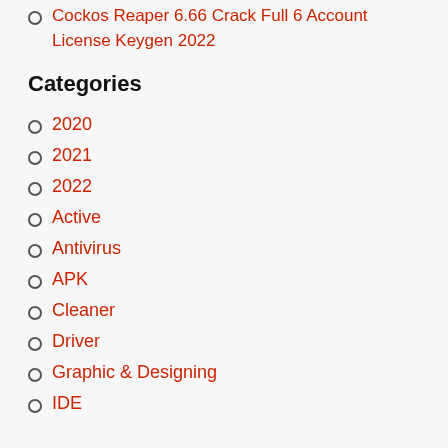Cockos Reaper 6.66 Crack Full 6 Account License Keygen 2022
Categories
2020
2021
2022
Active
Antivirus
APK
Cleaner
Driver
Graphic & Designing
IDE